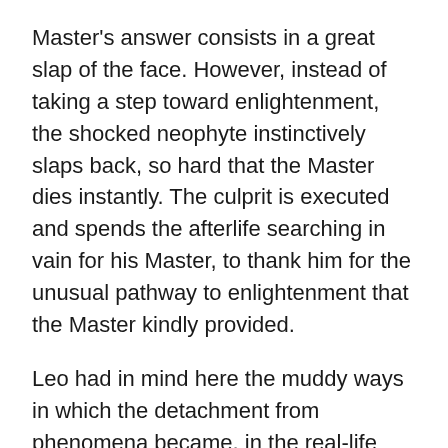Master's answer consists in a great slap of the face. However, instead of taking a step toward enlightenment, the shocked neophyte instinctively slaps back, so hard that the Master dies instantly. The culprit is executed and spends the afterlife searching in vain for his Master, to thank him for the unusual pathway to enlightenment that the Master kindly provided.
Leo had in mind here the muddy ways in which the detachment from phenomena became, in the real-life politics of Zen, a cover story excusing attacks against people and property. If none of it matters, Leo asks through his ghost person, why should it matter who gets slapped? But who gets slapped is exactly what matters.
Every misplaced injury is, to him or her who suffers it, almost incurable.